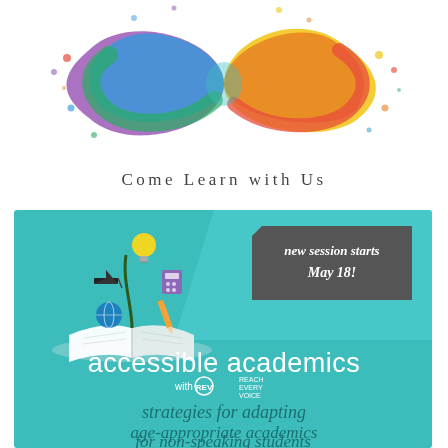[Figure (illustration): Colorful infinity symbol made of paint splashes in rainbow colors (purple, blue, green, yellow, orange, red) on white background]
Come Learn with Us
[Figure (infographic): Teal/turquoise promotional banner for 'accessible academics with Reach Every Voice'. Contains an illustration of an open book with academic items (graduation cap, lightbulb, globe, pencil, calculator) growing from it. Dark gray ribbon banner in upper right reads 'new session starts May 18!'. Bottom text reads 'strategies for adapting age-appropriate academics for non-speaking students'.]